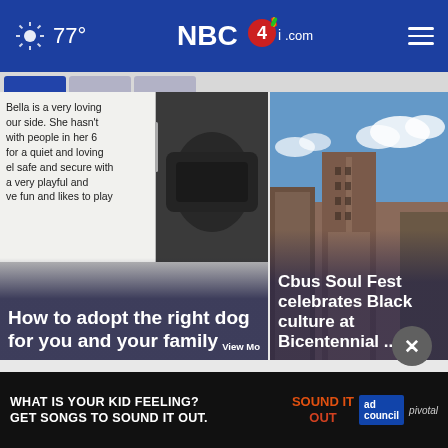77° NBC4i.com
[Figure (screenshot): Article card: How to adopt the right dog for you and your family. Text overlay reads: Bella is a very loving our side. She hasn't with people in her 6 for a quiet and loving el safe and secure with a very playful and ve fun and likes to play. Image shows dog in car.]
[Figure (screenshot): Article card: Cbus Soul Fest celebrates Black culture at Bicentennial ... Image shows Columbus Ohio skyline/buildings with blue sky.]
Top Stories ›
[Figure (infographic): Advertisement banner: WHAT IS YOUR KID FEELING? GET SONGS TO SOUND IT OUT. Sound It Out logo. Ad Council. Pivotal.]